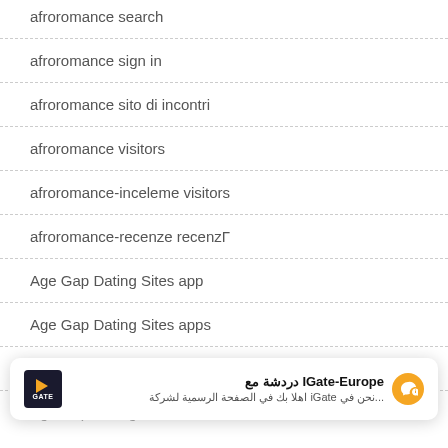afroromance search
afroromance sign in
afroromance sito di incontri
afroromance visitors
afroromance-inceleme visitors
afroromance-recenze recenzΓ
Age Gap Dating Sites app
Age Gap Dating Sites apps
Age Gap Dating Sites reviews
Age Gap Dating Sites...
[Figure (screenshot): Chat popup: IGate-Europe Facebook Messenger chat bubble with Arabic text '...نحن في iGate اهلا بك في الصفحة الرسمية لشركة' and messenger icon]